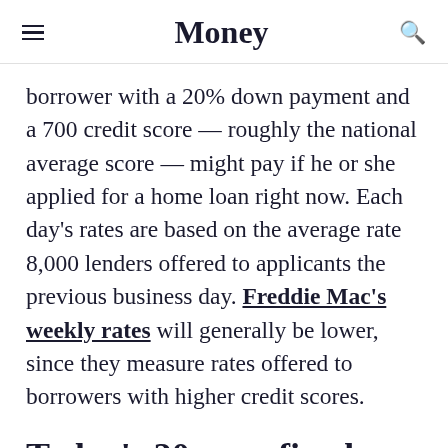Money
borrower with a 20% down payment and a 700 credit score — roughly the national average score — might pay if he or she applied for a home loan right now. Each day's rates are based on the average rate 8,000 lenders offered to applicants the previous business day. Freddie Mac's weekly rates will generally be lower, since they measure rates offered to borrowers with higher credit scores.
Today's 30-year fixed-rate